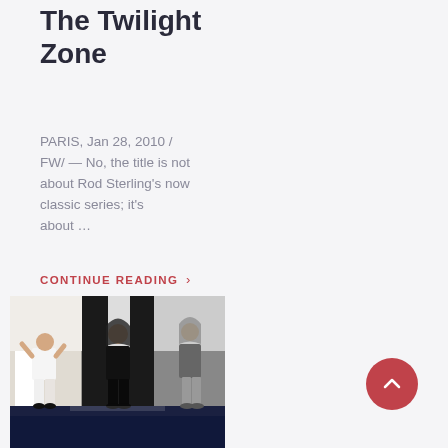The Twilight Zone
PARIS, Jan 28, 2010 / FW/ — No, the title is not about Rod Sterling's now classic series; it's about ...
CONTINUE READING >
[Figure (photo): Three fashion models on a runway wearing streetwear-style hooded outfits; left model in white top and patterned shorts, center in black hoodie and shorts, right in grey hooded jacket and leggings, on a dark blue runway.]